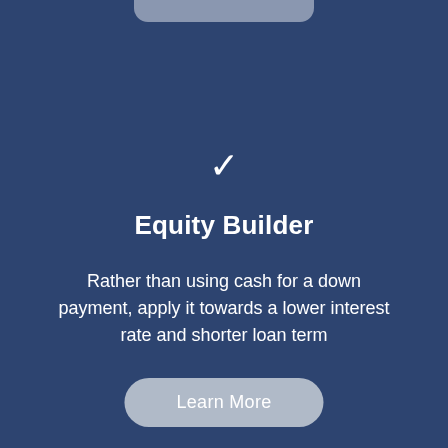[Figure (illustration): Checkmark icon in white on dark blue background]
Equity Builder
Rather than using cash for a down payment, apply it towards a lower interest rate and shorter loan term
Learn More